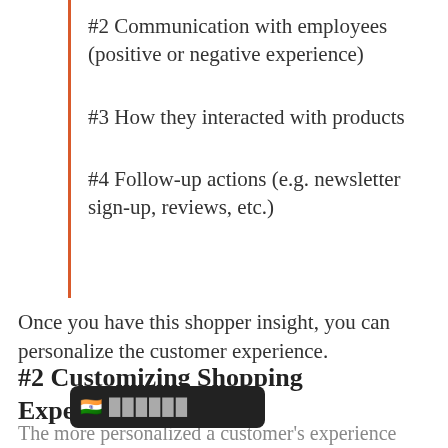#2 Communication with employees (positive or negative experience)
#3 How they interacted with products
#4 Follow-up actions (e.g. newsletter sign-up, reviews, etc.)
Once you have this shopper insight, you can personalize the customer experience.
#2 Customizing Shopping Experience
The more personalized a customer's experience is… their satisfaction. By assessing